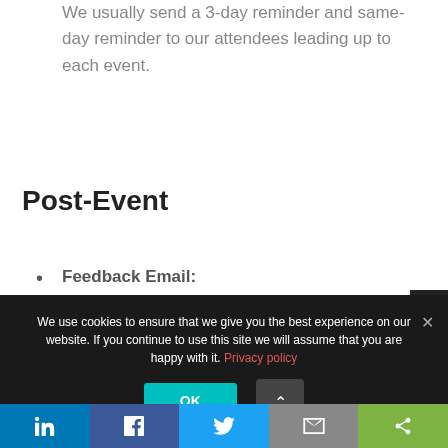We usually send a 3-day reminder and same-day reminder to our attendees leading up to each event.
Post-Event
Feedback Email: We always send a feedback email to all of the attendees including a survey link from Customer Voice, as soon as the live event is over.
We use cookies to ensure that we give you the best experience on our website. If you continue to use this site we will assume that you are happy with it. Privacy policy